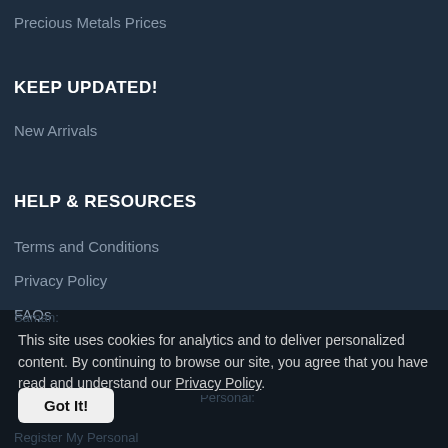Precious Metals Prices
KEEP UPDATED!
New Arrivals
HELP & RESOURCES
Terms and Conditions
Privacy Policy
FAQs
Saman:
This site uses cookies for analytics and to deliver personalized content. By continuing to browse our site, you agree that you have read and understand our Privacy Policy.
Payment Method:
Got It!
Personal:
Register My Personal